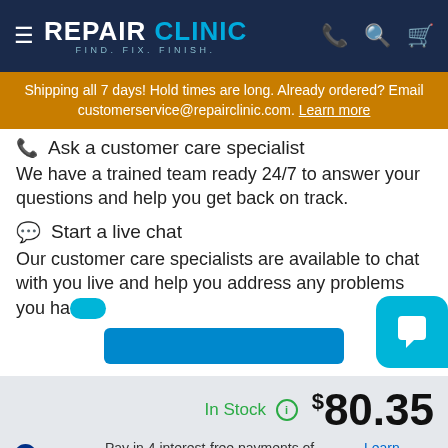REPAIR CLINIC — FIND. FIX. FINISH.
Shipping all 7 days! Hold times are long. Already ordered? Email customerservice@repairclinic.com. Learn more
Ask a customer care specialist
We have a trained team ready 24/7 to answer your questions and help you get back on track.
Start a live chat
Our customer care specialists are available to chat with you live and help you address any problems you hav…
In Stock  $80.35
PayPal Pay in 4 interest-free payments of $20.09. Learn more
1  ADD TO CART